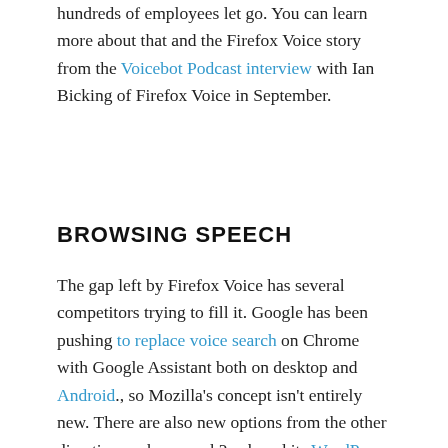hundreds of employees let go. You can learn more about that and the Firefox Voice story from the Voicebot Podcast interview with Ian Bicking of Firefox Voice in September.
BROWSING SPEECH
The gap left by Firefox Voice has several competitors trying to fill it. Google has been pushing to replace voice search on Chrome with Google Assistant both on desktop and Android., so Mozilla's concept isn't entirely new. There are also new options from the other direction such as speak2web and its WordPress plugin for people to search and shop by voice within websites, as well as mobile apps. The speak2web platform uses indexed data on a website to make it easier to search for information and can also